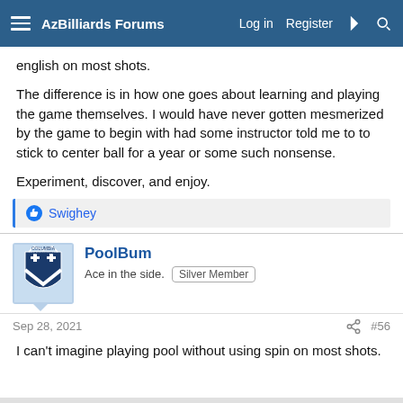AzBilliards Forums | Log in | Register
english on most shots.
The difference is in how one goes about learning and playing the game themselves. I would have never gotten mesmerized by the game to begin with had some instructor told me to to stick to center ball for a year or some such nonsense.
Experiment, discover, and enjoy.
Swighey
PoolBum
Ace in the side.  Silver Member
Sep 28, 2021  #56
I can't imagine playing pool without using spin on most shots.